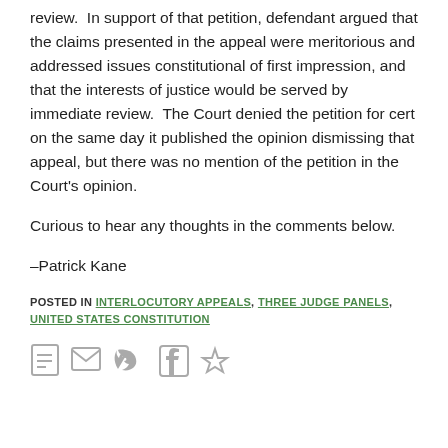review.  In support of that petition, defendant argued that the claims presented in the appeal were meritorious and addressed issues constitutional of first impression, and that the interests of justice would be served by immediate review.  The Court denied the petition for cert on the same day it published the opinion dismissing that appeal, but there was no mention of the petition in the Court's opinion.
Curious to hear any thoughts in the comments below.
–Patrick Kane
POSTED IN INTERLOCUTORY APPEALS, THREE JUDGE PANELS, UNITED STATES CONSTITUTION
[Figure (other): Row of social sharing icons: print/document, email, Twitter, Facebook, and one more icon]